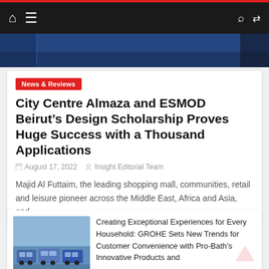Navigation bar with home, menu, search, and shuffle icons
[Figure (photo): Hero image showing a blue-toned event or venue photo]
News & Reviews
City Centre Almaza and ESMOD Beirut’s Design Scholarship Proves Huge Success with a Thousand Applications
August 17, 2022   Insight Editorial Team
Majid Al Futtaim, the leading shopping mall, communities, retail and leisure pioneer across the Middle East, Africa and Asia, and
[Figure (photo): Thumbnail photo showing vehicles/vans parked outdoors with a light blue sky]
Creating Exceptional Experiences for Every Household: GROHE Sets New Trends for Customer Convenience with Pro-Bath’s Innovative Products and